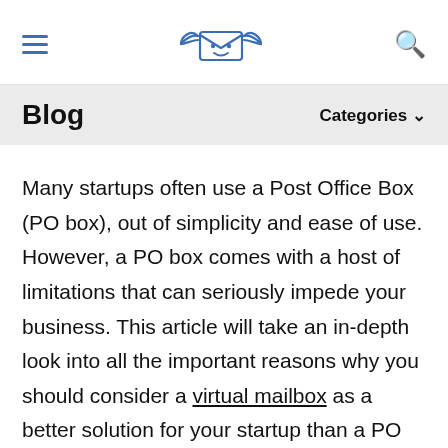[hamburger menu] [logo: flying envelope with wings] [search icon]
Blog
Categories
Many startups often use a Post Office Box (PO box), out of simplicity and ease of use. However, a PO box comes with a host of limitations that can seriously impede your business. This article will take an in-depth look into all the important reasons why you should consider a virtual mailbox as a better solution for your startup than a PO box.